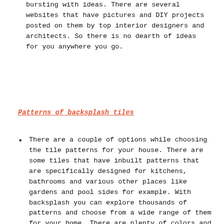bursting with ideas. There are several websites that have pictures and DIY projects posted on them by top interior designers and architects. So there is no dearth of ideas for you anywhere you go.
Patterns of backsplash tiles
There are a couple of options while choosing the tile patterns for your house. There are some tiles that have inbuilt patterns that are specifically designed for kitchens, bathrooms and various other places like gardens and pool sides for example. With backsplash you can explore thousands of patterns and choose from a wide range of them for your home. There are plenty of colors and combinations as well. We suggest that do not choose something on a whim because you may regret it later. Take a sample along with you and envision the room in those tiles and imagine how it is going to look. Play with a lot of imagination and creativity to arrive at the right combination. Actually it is a very interesting thing to do